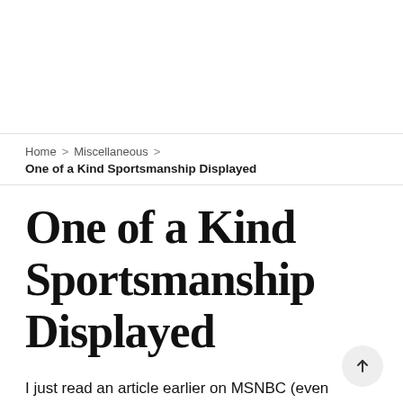Home > Miscellaneous > One of a Kind Sportsmanship Displayed
One of a Kind Sportsmanship Displayed
I just read an article earlier on MSNBC (even